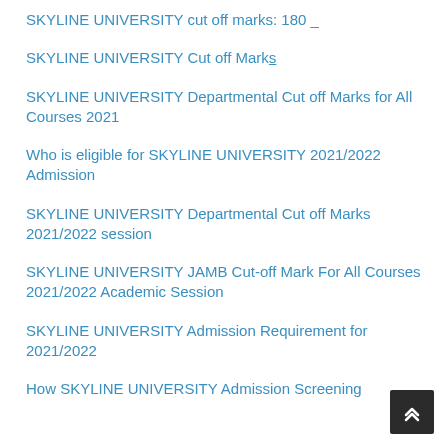SKYLINE UNIVERSITY cut off marks: 180 _
SKYLINE UNIVERSITY Cut off Marks
SKYLINE UNIVERSITY Departmental Cut off Marks for All Courses 2021
Who is eligible for SKYLINE UNIVERSITY 2021/2022 Admission
SKYLINE UNIVERSITY Departmental Cut off Marks 2021/2022 session
SKYLINE UNIVERSITY JAMB Cut-off Mark For All Courses 2021/2022 Academic Session
SKYLINE UNIVERSITY Admission Requirement for 2021/2022
How SKYLINE UNIVERSITY Admission Screening